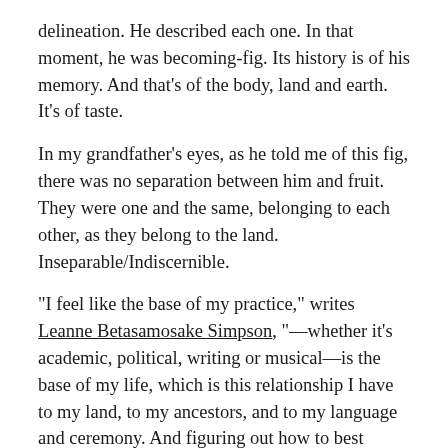delineation. He described each one. In that moment, he was becoming-fig. Its history is of his memory. And that's of the body, land and earth. It's of taste.
In my grandfather's eyes, as he told me of this fig, there was no separation between him and fruit. They were one and the same, belonging to each other, as they belong to the land. Inseparable/Indiscernible.
"I feel like the base of my practice," writes Leanne Betasamosake Simpson, "—whether it's academic, political, writing or musical—is the base of my life, which is this relationship I have to my land, to my ancestors, and to my language and ceremony. And figuring out how to best amplify, affirm and embody that and create that world for myself to live in."
The first time I was back in Beirut as an adult, I sat down with my grandfather and asked him to tell me about the house he built by hand, in Tarshiha. I recorded our conversation. It was long, because he went deep into description. No detail too small. Everything...